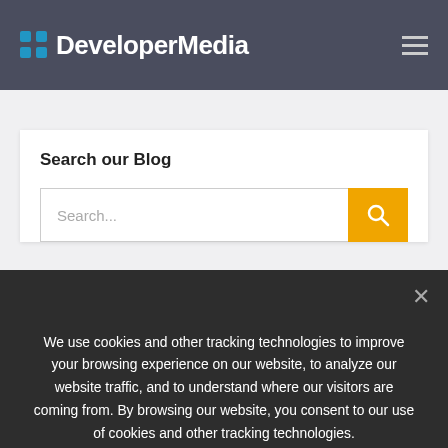DeveloperMedia
Search our Blog
We use cookies and other tracking technologies to improve your browsing experience on our website, to analyze our website traffic, and to understand where our visitors are coming from. By browsing our website, you consent to our use of cookies and other tracking technologies.
Accept   Privacy policy